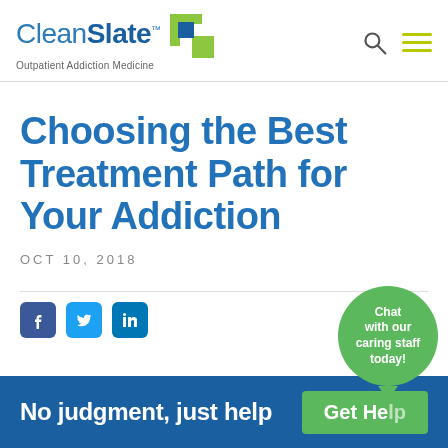[Figure (logo): CleanSlate Outpatient Addiction Medicine logo with green square icon and blue text]
Choosing the Best Treatment Path for Your Addiction
OCT 10, 2018
[Figure (infographic): Social media share icons: Facebook, Twitter, LinkedIn]
No judgment, just help
Get Help
Chat with our caring staff today!